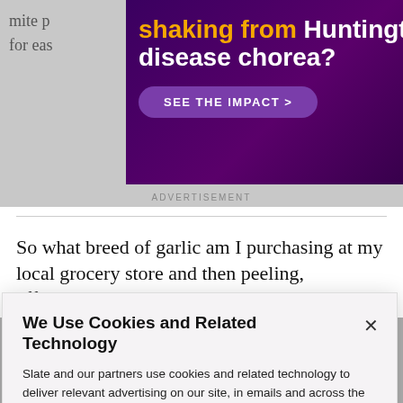mite p... breed for eas... e."
[Figure (infographic): Purple/dark ad banner for Huntington's disease chorea treatment with yellow text 'shaking from' and white text 'Huntington's disease chorea?' and a purple button 'SEE THE IMPACT >']
ADVERTISEMENT
So what breed of garlic am I purchasing at my local grocery store and then peeling, effortlessly, in my
We Use Cookies and Related Technology

Slate and our partners use cookies and related technology to deliver relevant advertising on our site, in emails and across the Internet. We and our partners also use these technologies to personalize content and perform site analytics. For more information, see our terms and privacy policy. Privacy Policy

OK